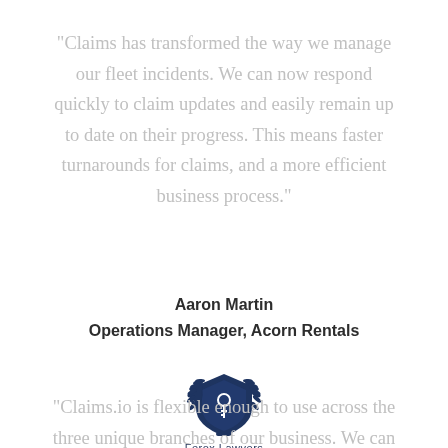“Claims has transformed the way we manage our fleet incidents. We can now respond quickly to claim updates and easily remain up to date on their progress. This means faster turnarounds for claims, and a more efficient business process.”
Aaron Martin
Operations Manager, Acorn Rentals
[Figure (logo): Ferox Lawyers logo: a dark navy shield with laurel branches and a key emblem, with the text 'Ferox Lawyers' below]
“Claims.io is flexible enough to use across the three unique branches of our business. We can